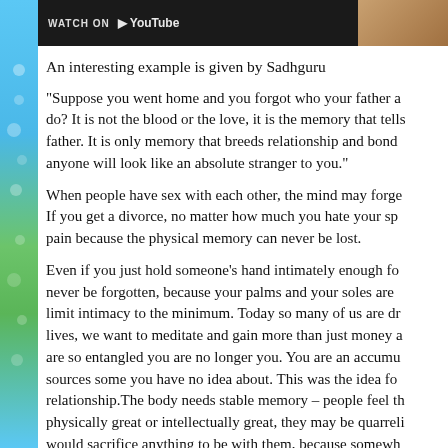[Figure (screenshot): Top portion of a video thumbnail showing a dark background with a YouTube play bar overlay and a wooden/rattan texture on the right side]
An interesting example is given by Sadhguru
“Suppose you went home and you forgot who your father a do? It is not the blood or the love, it is the memory that tells father. It is only memory that breeds relationship and bond anyone will look like an absolute stranger to you.”
When people have sex with each other, the mind may forge If you get a divorce, no matter how much you hate your sp pain because the physical memory can never be lost.
Even if you just hold someone’s hand intimately enough fo never be forgotten, because your palms and your soles are limit intimacy to the minimum. Today so many of us are dr lives, we want to meditate and gain more than just money a are so entangled you are no longer you. You are an accumu sources some you have no idea about. This was the idea fo relationship.The body needs stable memory – people feel th physically great or intellectually great, they may be quarreli would sacrifice anything to be with them, because somewh gives them maximum comfort and wellbeing. This is becau your life much, much more than your mental memory. The ruled by your physical memory, not by your mental memor